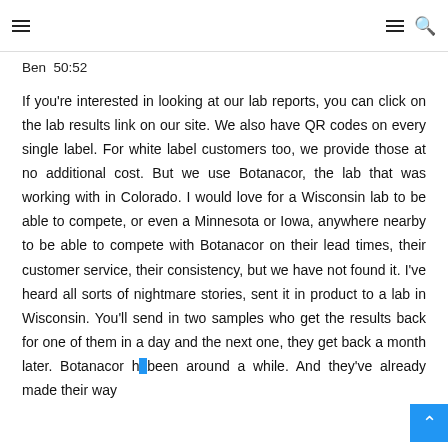≡  ≡ 🔍
Ben  50:52
If you're interested in looking at our lab reports, you can click on the lab results link on our site. We also have QR codes on every single label. For white label customers too, we provide those at no additional cost. But we use Botanacor, the lab that was working with in Colorado. I would love for a Wisconsin lab to be able to compete, or even a Minnesota or Iowa, anywhere nearby to be able to compete with Botanacor on their lead times, their customer service, their consistency, but we have not found it. I've heard all sorts of nightmare stories, sent it in product to a lab in Wisconsin. You'll send in two samples who get the results back for one of them in a day and the next one, they get back a month later. Botanacor has been around a while. And they've already made their way